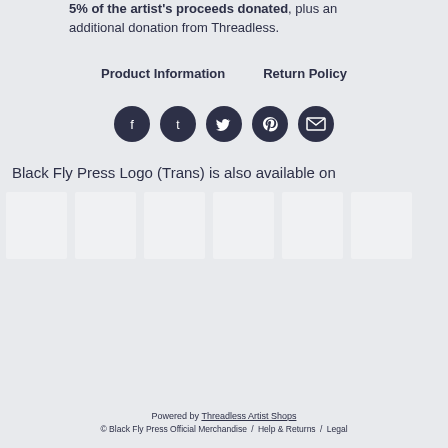5% of the artist's proceeds donated, plus an additional donation from Threadless.
Product Information   Return Policy
[Figure (infographic): Row of 5 social media circular icon buttons (Facebook, Tumblr, Twitter, Pinterest, Email) in dark navy color]
Black Fly Press Logo (Trans) is also available on
[Figure (infographic): Row of 6 blank white/light grey product thumbnail images]
Powered by Threadless Artist Shops
© Black Fly Press Official Merchandise / Help & Returns / Legal